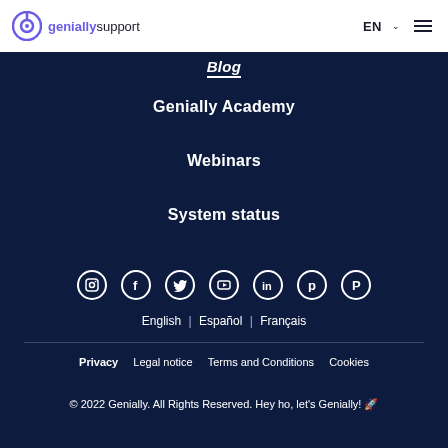genially support | EN ≡
Blog
Genially Academy
Webinars
System status
[Figure (infographic): Social media icons row: Instagram, Facebook, Twitter, YouTube, LinkedIn, Pinterest, ProductHunt - all white circle-bordered icons on dark navy background]
English | Español | Français
Privacy   Legal notice   Terms and Conditions   Cookies
© 2022 Genially. All Rights Reserved. Hey ho, let's Genially! 🚀